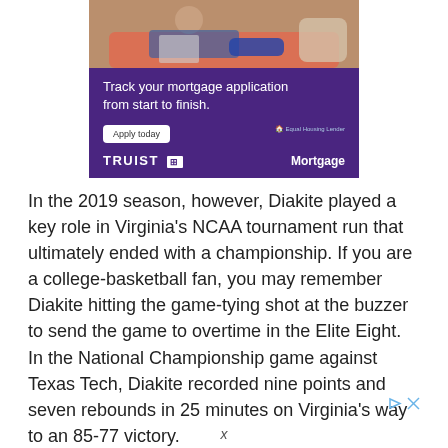[Figure (illustration): Truist Mortgage advertisement showing a purple banner with people on a couch above, headline 'Track your mortgage application from start to finish.' with an 'Apply today' button, Equal Housing Lender logo, and TRUIST brand name with Mortgage label.]
In the 2019 season, however, Diakite played a key role in Virginia's NCAA tournament run that ultimately ended with a championship. If you are a college-basketball fan, you may remember Diakite hitting the game-tying shot at the buzzer to send the game to overtime in the Elite Eight. In the National Championship game against Texas Tech, Diakite recorded nine points and seven rebounds in 25 minutes on Virginia's way to an 85-77 victory.